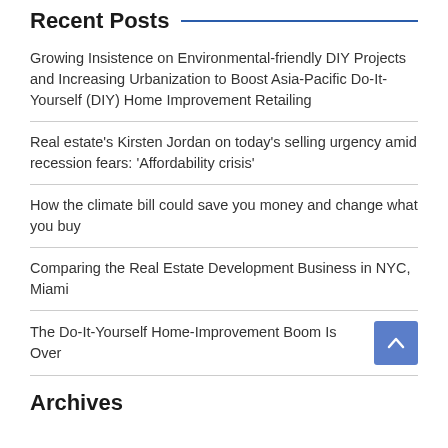Recent Posts
Growing Insistence on Environmental-friendly DIY Projects and Increasing Urbanization to Boost Asia-Pacific Do-It-Yourself (DIY) Home Improvement Retailing
Real estate's Kirsten Jordan on today's selling urgency amid recession fears: ‘Affordability crisis’
How the climate bill could save you money and change what you buy
Comparing the Real Estate Development Business in NYC, Miami
The Do-It-Yourself Home-Improvement Boom Is Over
Archives